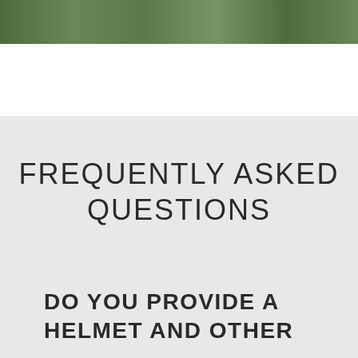[Figure (photo): Partial photograph of outdoor nature scene with green foliage, cropped at top of page]
FREQUENTLY ASKED QUESTIONS
DO YOU PROVIDE A HELMET AND OTHER